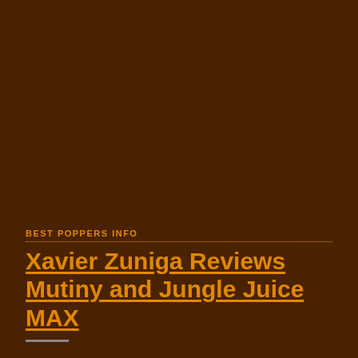BEST POPPERS INFO
Xavier Zuniga Reviews Mutiny and Jungle Juice MAX